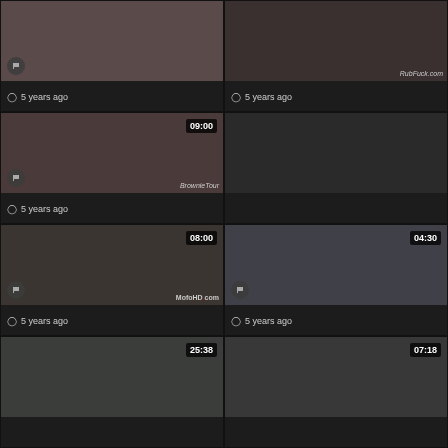[Figure (screenshot): Video thumbnail grid showing 8 video cards in a 2-column layout. Each card has a thumbnail image, duration badge, flag icon, and '5 years ago' metadata. Durations shown: 09:00, 08:00, 04:30, 25:38, 07:18. Watermarks visible: RubFuck.com, BrownieTour, MofoHD.com]
5 years ago
5 years ago
5 years ago
5 years ago
5 years ago
5 years ago